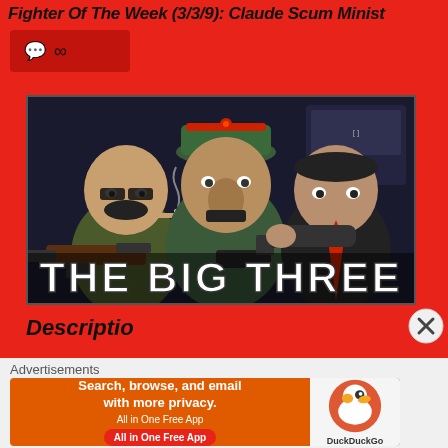Fighter Of The Week (3/3/9): Claude Scum Minist
[Figure (screenshot): Social sharing bar with comment bubble and chain/link icons on dark red background]
[Figure (illustration): Illustrated game art showing three armed cartoon characters (The Big Three) with weapons in a dark setting. Text at bottom reads 'THE BIG THREE'.]
Descriptions
Advertisements
[Figure (screenshot): DuckDuckGo advertisement banner: 'Search, browse, and email with more privacy. All in One Free App' with DuckDuckGo duck logo on right side.]